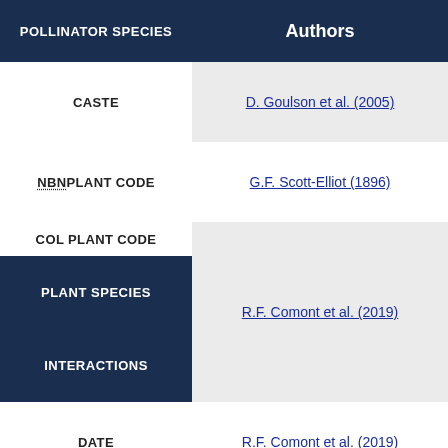POLLINATOR SPECIES
Authors
CASTE
D. Goulson et al. (2005)
NBN PLANT CODE
G.F. Scott-Elliot (1896)
COL PLANT CODE
PLANT SPECIES
INTERACTIONS
R.F. Comont et al. (2019)
DATE
R.F. Comont et al. (2019)
MONTH